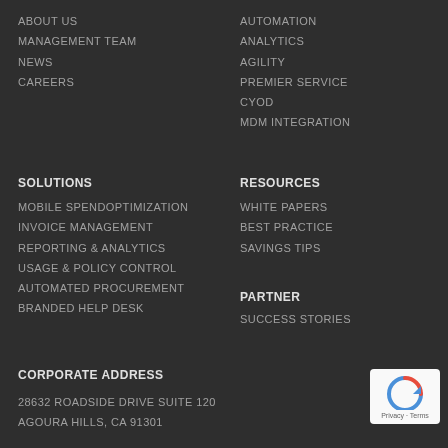ABOUT US
MANAGEMENT TEAM
NEWS
CAREERS
AUTOMATION
ANALYTICS
AGILITY
PREMIER SERVICE
CYOD
MDM INTEGRATION
SOLUTIONS
MOBILE SPEND OPTIMIZATION
INVOICE MANAGEMENT
REPORTING & ANALYTICS
USAGE & POLICY CONTROL
AUTOMATED PROCUREMENT
BRANDED HELP DESK
RESOURCES
WHITE PAPERS
BEST PRACTICE
SAVINGS TIPS
PARTNER
SUCCESS STORIES
CORPORATE ADDRESS
28632 ROADSIDE DRIVE SUITE 120
AGOURA HILLS, CA 91301
[Figure (logo): reCAPTCHA badge with Privacy and Terms text]